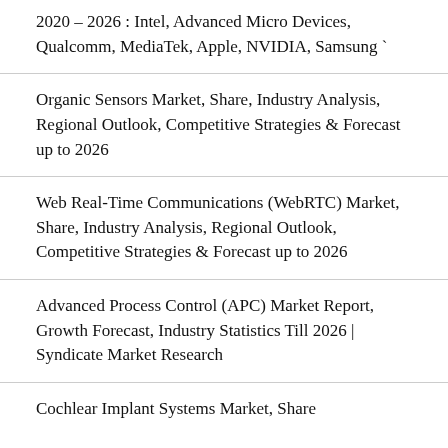2020 – 2026 : Intel, Advanced Micro Devices, Qualcomm, MediaTek, Apple, NVIDIA, Samsung `
Organic Sensors Market, Share, Industry Analysis, Regional Outlook, Competitive Strategies & Forecast up to 2026
Web Real-Time Communications (WebRTC) Market, Share, Industry Analysis, Regional Outlook, Competitive Strategies & Forecast up to 2026
Advanced Process Control (APC) Market Report, Growth Forecast, Industry Statistics Till 2026 | Syndicate Market Research
Cochlear Implant Systems Market, Share…